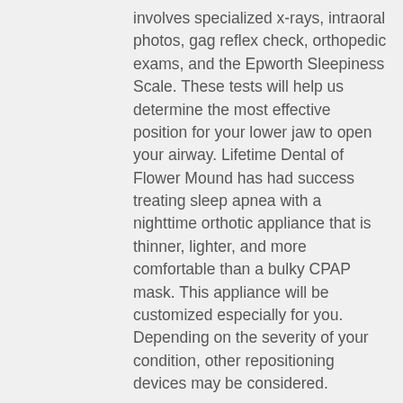involves specialized x-rays, intraoral photos, gag reflex check, orthopedic exams, and the Epworth Sleepiness Scale. These tests will help us determine the most effective position for your lower jaw to open your airway. Lifetime Dental of Flower Mound has had success treating sleep apnea with a nighttime orthotic appliance that is thinner, lighter, and more comfortable than a bulky CPAP mask. This appliance will be customized especially for you. Depending on the severity of your condition, other repositioning devices may be considered.